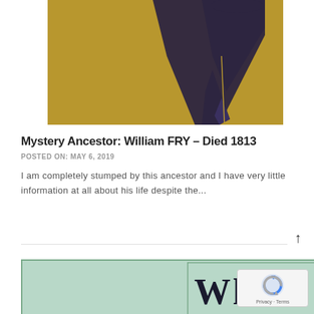[Figure (illustration): Gold/yellow background with a dark purple ink pen nib pointing downward, partially cropped at top]
Mystery Ancestor: William FRY – Died 1813
POSTED ON: MAY 6, 2019
I am completely stumped by this ancestor and I have very little information at all about his life despite the...
[Figure (illustration): Mint green banner with bold serif text reading 'Where Did Your']